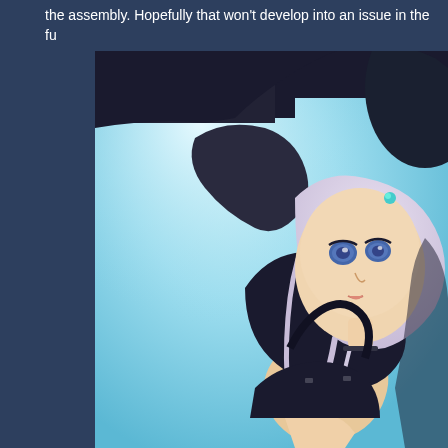the assembly. Hopefully that won't develop into an issue in the fu...
[Figure (photo): Close-up photo of an anime-style collectible figure with silver/lavender hair, blue eyes, wearing a black leather-style outfit. The figure is posed dynamically against a light blue/teal blurred background. The figure appears to be a detailed PVC statue.]